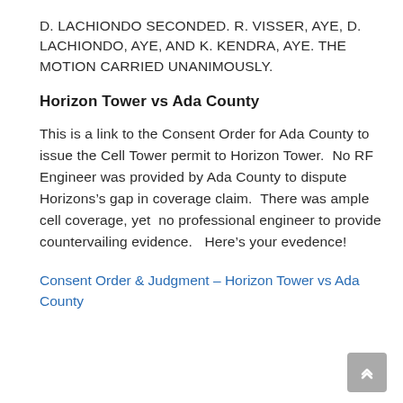D. LACHIONDO SECONDED. R. VISSER, AYE, D. LACHIONDO, AYE, AND K. KENDRA, AYE. THE MOTION CARRIED UNANIMOUSLY.
Horizon Tower vs Ada County
This is a link to the Consent Order for Ada County to issue the Cell Tower permit to Horizon Tower.  No RF Engineer was provided by Ada County to dispute Horizons’s gap in coverage claim.  There was ample cell coverage, yet  no professional engineer to provide countervailing evidence.   Here’s your evedence!
Consent Order & Judgment – Horizon Tower vs Ada County